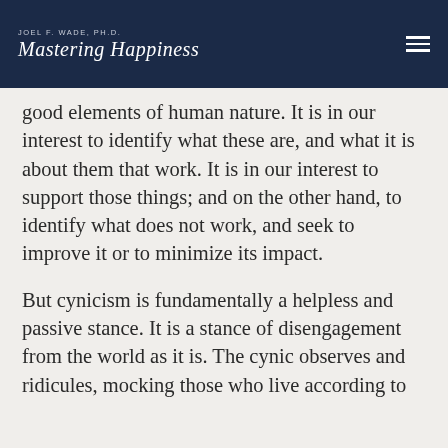JOEL F. WADE, PH.D. Mastering Happiness
good elements of human nature. It is in our interest to identify what these are, and what it is about them that work. It is in our interest to support those things; and on the other hand, to identify what does not work, and seek to improve it or to minimize its impact.
But cynicism is fundamentally a helpless and passive stance. It is a stance of disengagement from the world as it is. The cynic observes and ridicules, mocking those who live according to